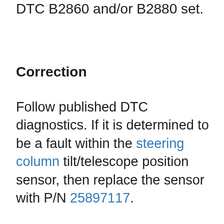DTC B2860 and/or B2880 set.
Correction
Follow published DTC diagnostics. If it is determined to be a fault within the steering column tilt/telescope position sensor, then replace the sensor with P/N 25897117.